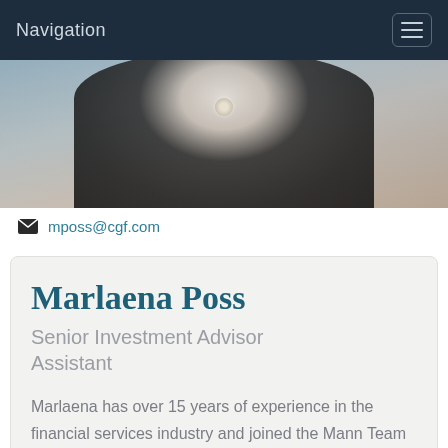Navigation
[Figure (photo): Partial photo of a woman wearing a dark top with a pearl necklace, cropped to show shoulders and chest area]
mposs@cgf.com
Marlaena Poss
Senior Investment Advisor Assistant
Marlaena has over 15 years of experience in the financial services industry and joined the Mann Team in 2009. Marlaena brings extensive administrative experience to her